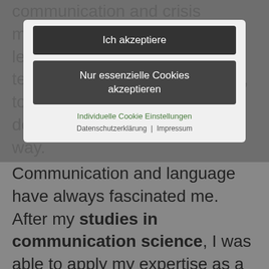communication and crisis management. I empower c-levels, managers and their teams to overcome every crisis, to go strong through crisis and deal with grief in a supportive way.
[Figure (screenshot): Cookie consent modal dialog with two buttons: 'Ich akzeptiere' (I accept) and 'Nur essenzielle Cookies akzeptieren' (Accept only essential cookies), plus links for 'Individuelle Cookie Einstellungen', 'Datenschutzerklärung', and 'Impressum'.]
Communication and language have always fascinated me. After my studies in communication science, I was able to apply my expertise as a communication consultant for 18 years in various media companies such as Media group RTL, Gruner + Jahr and Microsoft. Especially